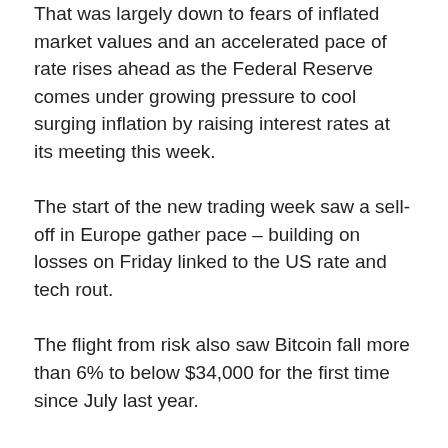That was largely down to fears of inflated market values and an accelerated pace of rate rises ahead as the Federal Reserve comes under growing pressure to cool surging inflation by raising interest rates at its meeting this week.
The start of the new trading week saw a sell-off in Europe gather pace – building on losses on Friday linked to the US rate and tech rout.
The flight from risk also saw Bitcoin fall more than 6% to below $34,000 for the first time since July last year.
Advertisement
The pound came under pressure too and was six tenths of a cent down on the dollar as the so-called safe haven US currency found support.